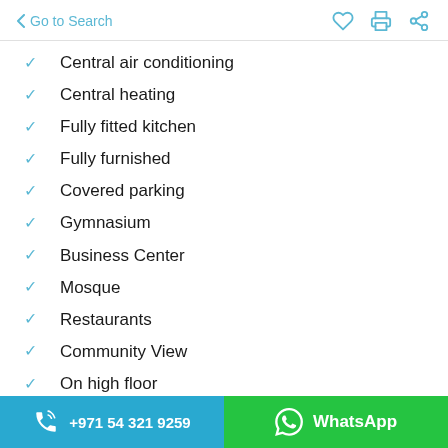< Go to Search
Central air conditioning
Central heating
Fully fitted kitchen
Fully furnished
Covered parking
Gymnasium
Business Center
Mosque
Restaurants
Community View
On high floor
Shared swimming pool
+971 54 321 9259 | WhatsApp